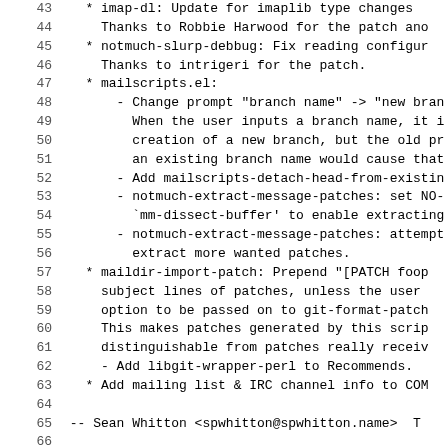Code/changelog listing, lines 43–70, showing mailscripts package changelog entries including imap-dl, notmuch-slurp-debbug, mailscripts.el, maildir-import-patch, and version 0.19-1 release notes.